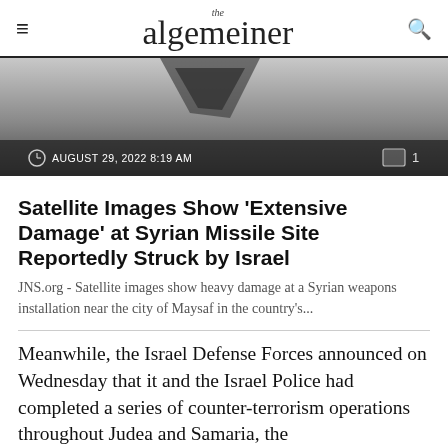the algemeiner
[Figure (photo): Partially cropped photo with dark overlay at bottom showing date AUGUST 29, 2022 8:19 AM and comment count 1]
Satellite Images Show ‘Extensive Damage’ at Syrian Missile Site Reportedly Struck by Israel
JNS.org - Satellite images show heavy damage at a Syrian weapons installation near the city of Maysaf in the country’s…
Meanwhile, the Israel Defense Forces announced on Wednesday that it and the Israel Police had completed a series of counter-terrorism operations throughout Judea and Samaria, the